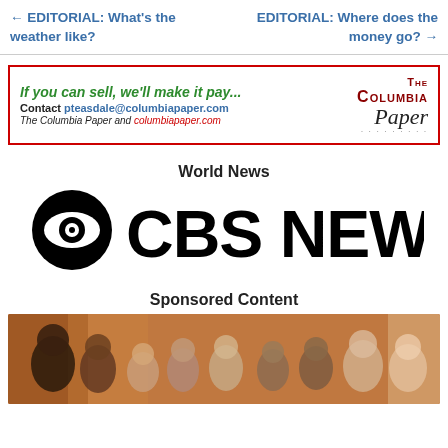← EDITORIAL: What's the weather like?
EDITORIAL: Where does the money go? →
[Figure (other): Advertisement for The Columbia Paper. Text: 'If you can sell, we'll make it pay... Contact pteasdale@columbiapaper.com. The Columbia Paper and columbiapaper.com' with The Columbia Paper logo on the right.]
World News
[Figure (logo): CBS News logo — CBS eye icon followed by bold CBS NEWS text]
Sponsored Content
[Figure (photo): Group photo of diverse smiling people outdoors]